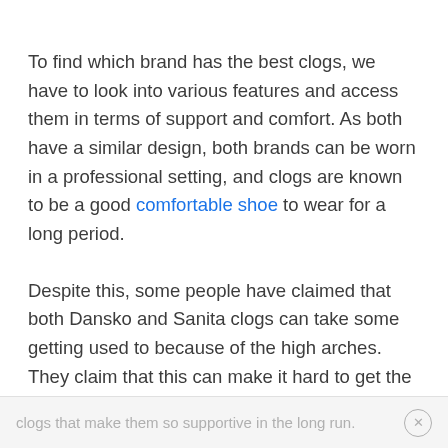To find which brand has the best clogs, we have to look into various features and access them in terms of support and comfort. As both have a similar design, both brands can be worn in a professional setting, and clogs are known to be a good comfortable shoe to wear for a long period.
Despite this, some people have claimed that both Dansko and Sanita clogs can take some getting used to because of the high arches. They claim that this can make it hard to get the shoe on your feet in the first place, and there can be some chafing at the back because of this. But ultimately, it is these high arches and the overall shape of
clogs that make them so supportive in the long run.